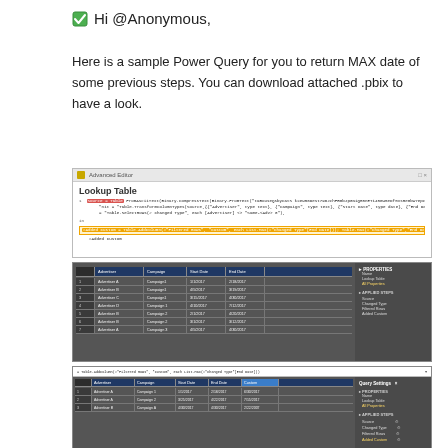✅ Hi @Anonymous,
Here is a sample Power Query for you to return MAX date of some previous steps. You can download attached .pbix to have a look.
[Figure (screenshot): Advanced Editor screenshot showing Power Query M code for Lookup Table with highlighted lines]
[Figure (screenshot): Power Query editor showing Lookup Table data with columns: Advertiser, Campaign, Start Date, End Date. Sidebar shows Properties and Applied Steps.]
[Figure (screenshot): Power Query editor showing formula bar with Added Custom step, table with Advertiser, Campaign, Start Date, End Date, Custom columns. Query Settings sidebar visible.]